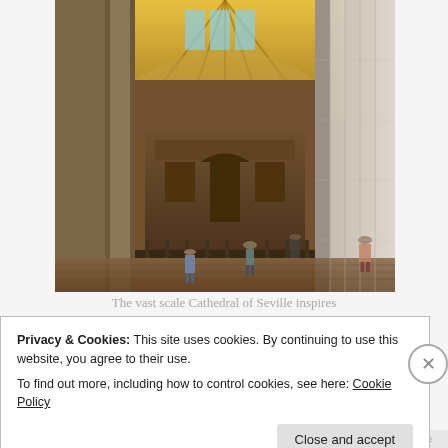[Figure (photo): Interior of the Cathedral of Seville showing Gothic nave with golden vaulted ceilings, ornate altar screen, and tourists walking on the floor below.]
The vast scale Cathedral of Seville inspires
Privacy & Cookies: This site uses cookies. By continuing to use this website, you agree to their use.
To find out more, including how to control cookies, see here: Cookie Policy
Close and accept